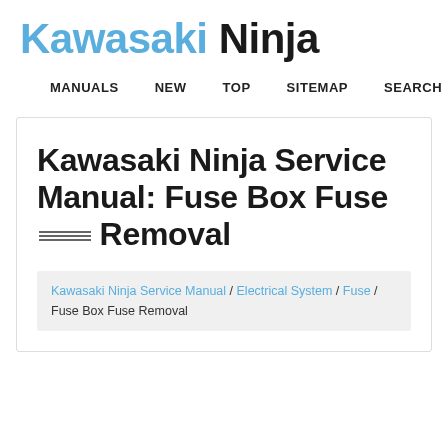Kawasaki Ninja
MANUALS   NEW   TOP   SITEMAP   SEARCH
Kawasaki Ninja Service Manual: Fuse Box Fuse Removal
Kawasaki Ninja Service Manual / Electrical System / Fuse / Fuse Box Fuse Removal